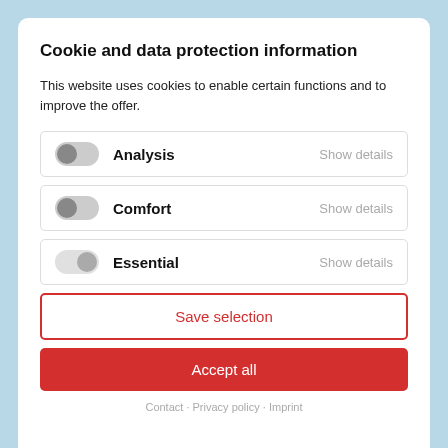Cookie and data protection information
This website uses cookies to enable certain functions and to improve the offer.
Analysis — Show details
Comfort — Show details
Essential — Show details
Save selection
Accept all
Contact · Privacy policy · Imprint